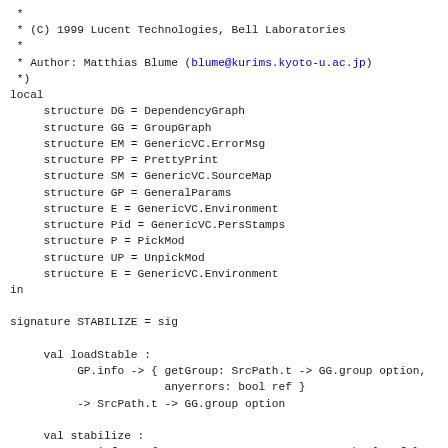Source code fragment showing SML/NJ module declarations including structure bindings, signature STABILIZE, val loadStable, val stabilize, functor StabilizeFn